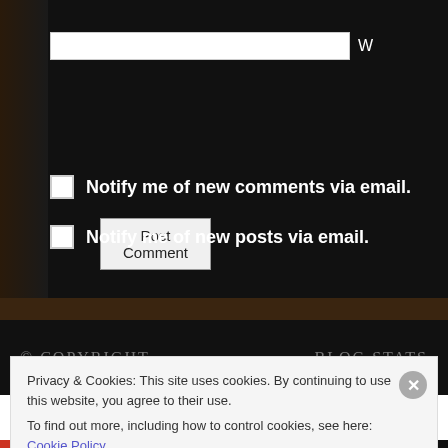[Figure (screenshot): Text input field with white background, partially visible label 'W' to the right]
Post Comment
Notify me of new comments via email.
Notify me of new posts via email.
© COPYRIGHT
BLOG STATS
Privacy & Cookies: This site uses cookies. By continuing to use this website, you agree to their use.
To find out more, including how to control cookies, see here: Cookie Policy
Close and accept